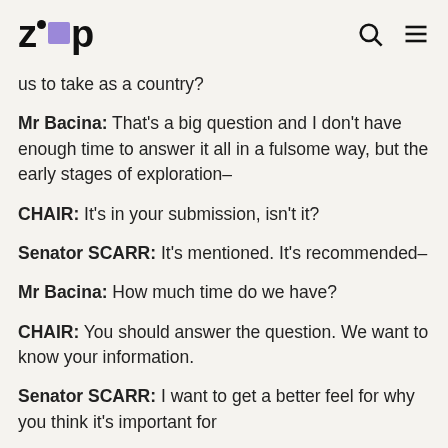zip
us to take as a country?
Mr Bacina: That's a big question and I don't have enough time to answer it all in a fulsome way, but the early stages of exploration–
CHAIR: It's in your submission, isn't it?
Senator SCARR: It's mentioned. It's recommended–
Mr Bacina: How much time do we have?
CHAIR: You should answer the question. We want to know your information.
Senator SCARR: I want to get a better feel for why you think it's important for